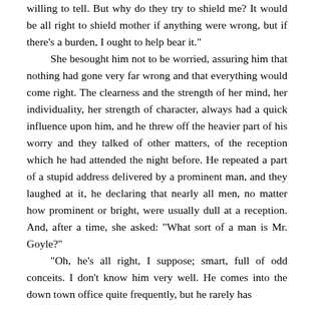willing to tell. But why do they try to shield me? It would be all right to shield mother if anything were wrong, but if there's a burden, I ought to help bear it."

 She besought him not to be worried, assuring him that nothing had gone very far wrong and that everything would come right. The clearness and the strength of her mind, her individuality, her strength of character, always had a quick influence upon him, and he threw off the heavier part of his worry and they talked of other matters, of the reception which he had attended the night before. He repeated a part of a stupid address delivered by a prominent man, and they laughed at it, he declaring that nearly all men, no matter how prominent or bright, were usually dull at a reception. And, after a time, she asked: "What sort of a man is Mr. Goyle?"

 "Oh, he's all right, I suppose; smart, full of odd conceits. I don't know him very well. He comes into the down town office quite frequently, but he rarely has